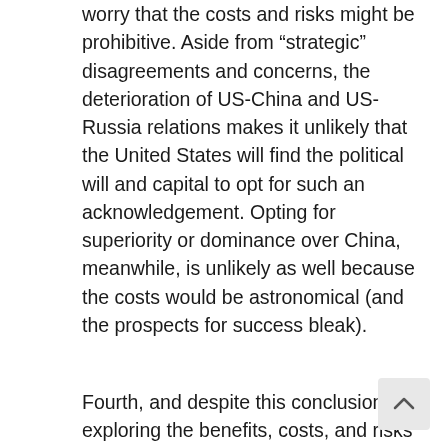it strengthened US-China strategic stability, but they worry that the costs and risks might be prohibitive. Aside from “strategic” disagreements and concerns, the deterioration of US-China and US-Russia relations makes it unlikely that the United States will find the political will and capital to opt for such an acknowledgement. Opting for superiority or dominance over China, meanwhile, is unlikely as well because the costs would be astronomical (and the prospects for success bleak).
Fourth, and despite this conclusion, exploring the benefits, costs, and risks of opting for or rejecting mutual vulnerability with China is useful because it forces US analysts to reflect on the type of strategic nuclear relationship that Washington should pursue (and can have) with Beijing. Because it is so fundamental, even if analysts draw very different-...